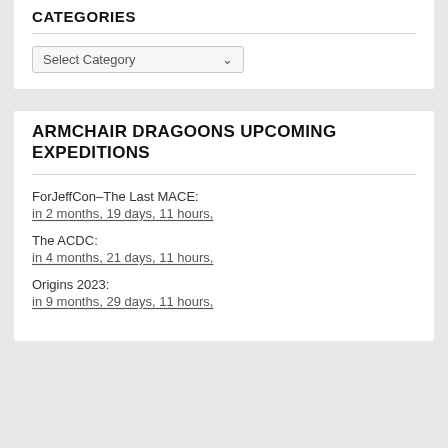CATEGORIES
Select Category
ARMCHAIR DRAGOONS UPCOMING EXPEDITIONS
ForJeffCon–The Last MACE:
in 2 months, 19 days, 11 hours,
The ACDC:
in 4 months, 21 days, 11 hours,
Origins 2023:
in 9 months, 29 days, 11 hours,